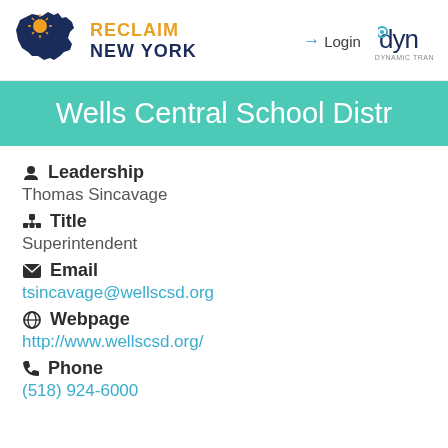[Figure (logo): Reclaim New York logo with NY state silhouette in navy blue with orange sun, text RECLAIM in orange and NEW YORK in navy]
Login
[Figure (logo): DYN Dynamic Tran logo — partial view]
Wells Central School Distr
Leadership
Thomas Sincavage
Title
Superintendent
Email
tsincavage@wellscsd.org
Webpage
http://www.wellscsd.org/
Phone
(518) 924-6000